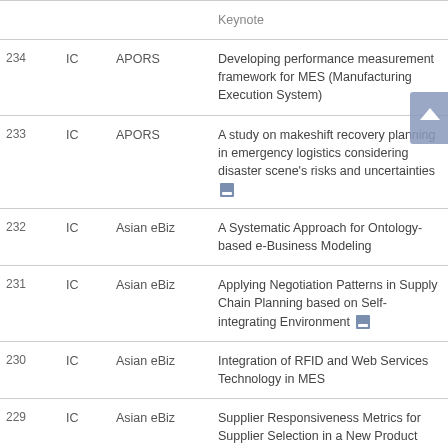| # | Type | Track | Title |
| --- | --- | --- | --- |
|  |  |  | Keynote |
| 234 | IC | APORS | Developing performance measurement framework for MES (Manufacturing Execution System) |
| 233 | IC | APORS | A study on makeshift recovery planning in emergency logistics considering disaster scene's risks and uncertainties |
| 232 | IC | Asian eBiz | A Systematic Approach for Ontology-based e-Business Modeling |
| 231 | IC | Asian eBiz | Applying Negotiation Patterns in Supply Chain Planning based on Self-integrating Environment |
| 230 | IC | Asian eBiz | Integration of RFID and Web Services Technology in MES |
| 229 | IC | Asian eBiz | Supplier Responsiveness Metrics for Supplier Selection in a New Product Launch |